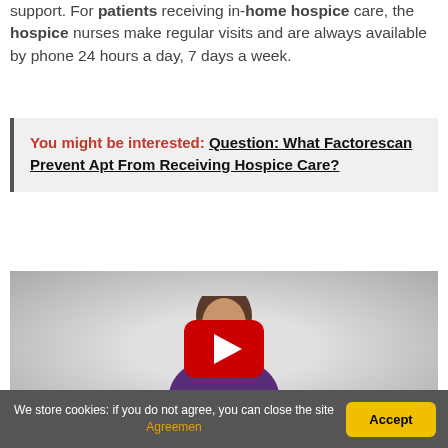support. For patients receiving in-home hospice care, the hospice nurses make regular visits and are always available by phone 24 hours a day, 7 days a week.
You might be interested: Question: What Factorescan Prevent Apt From Receiving Hospice Care?
[Figure (screenshot): Video thumbnail showing a woman with short brown hair wearing a purple top, with a YouTube-style red play button overlay in the center.]
We store cookies: if you do not agree, you can close the site Agreemen